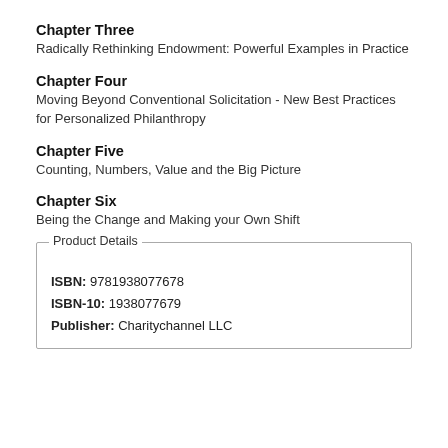Chapter Three
Radically Rethinking Endowment: Powerful Examples in Practice
Chapter Four
Moving Beyond Conventional Solicitation - New Best Practices for Personalized Philanthropy
Chapter Five
Counting, Numbers, Value and the Big Picture
Chapter Six
Being the Change and Making your Own Shift
| Product Details |
| --- |
| ISBN: 9781938077678 |
| ISBN-10: 1938077679 |
| Publisher: Charitychannel LLC |